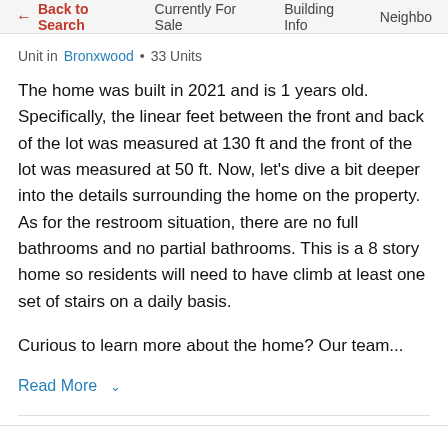← Back to Search   Currently For Sale   Building Info   Neighbo
Unit in Bronxwood • 33 Units
The home was built in 2021 and is 1 years old. Specifically, the linear feet between the front and back of the lot was measured at 130 ft and the front of the lot was measured at 50 ft. Now, let's dive a bit deeper into the details surrounding the home on the property. As for the restroom situation, there are no full bathrooms and no partial bathrooms. This is a 8 story home so residents will need to have climb at least one set of stairs on a daily basis.
Curious to learn more about the home? Our team...
Read More ∨